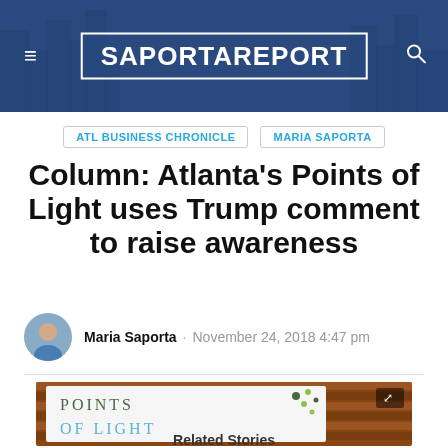Saporta Report
ATL BUSINESS CHRONICLE  MARIA SAPORTA
Column: Atlanta’s Points of Light uses Trump comment to raise awareness
Maria Saporta · November 24, 2018 4:47 pm
[Figure (photo): Sign on a brick wall reading POINTS OF LIGHT with the Points of Light logo]
Related Stories